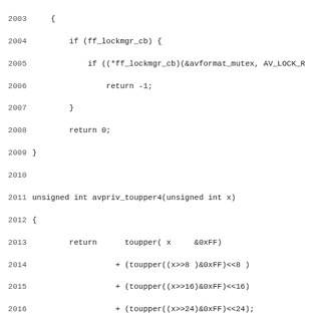[Figure (screenshot): Source code listing in C showing lines 2003-2035 of a file. Contains functions: ff_lockmgr_cb check, avpriv_toupper4, ff_thread_get_buffer, ff_thread_release_buffer, ff_thread_finish_setup, with line numbers on the left.]